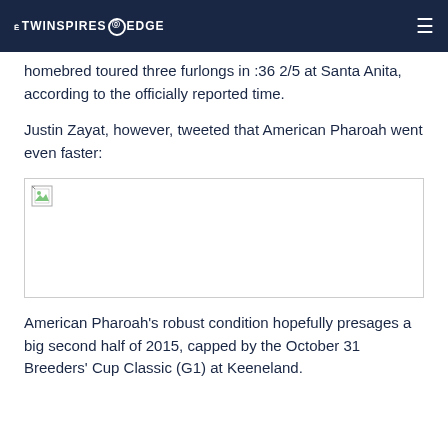THE TWINSPIRES EDGE
homebred toured three furlongs in :36 2/5 at Santa Anita, according to the officially reported time.
Justin Zayat, however, tweeted that American Pharoah went even faster:
[Figure (photo): Broken/missing embedded image, shown as a broken image icon in the top-left of a bordered rectangular area.]
American Pharoah's robust condition hopefully presages a big second half of 2015, capped by the October 31 Breeders' Cup Classic (G1) at Keeneland.